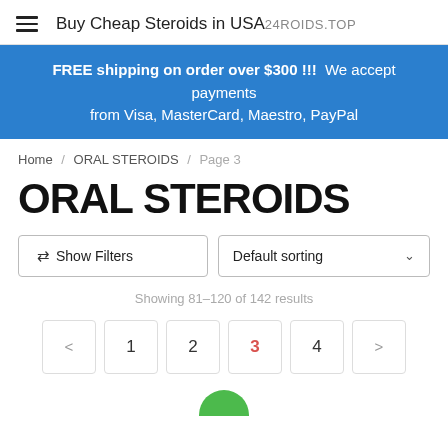Buy Cheap Steroids in USA 24ROIDS.TOP
FREE shipping on order over $300 !!!  We accept payments from Visa, MasterCard, Maestro, PayPal
Home / ORAL STEROIDS / Page 3
ORAL STEROIDS
Show Filters
Default sorting
Showing 81–120 of 142 results
< 1 2 3 4 >